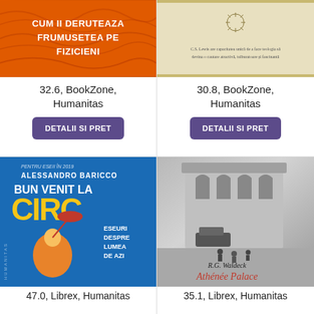[Figure (photo): Top portion of book cover with orange background and text CUM II DERUTEAZA FRUMUSETEA PE FIZICIENI]
32.6, BookZone, Humanitas
DETALII SI PRET
[Figure (photo): Top portion of book cover, beige/cream background with small text about C.S. Lewis]
30.8, BookZone, Humanitas
DETALII SI PRET
[Figure (photo): Book cover: Alessandro Baricco - Bun Venit la Circ, blue background, clown figure with umbrella]
47.0, Librex, Humanitas
[Figure (photo): Book cover: R.G. Waldeck - Athenee Palace, black and white photo of building/street, vintage style]
35.1, Librex, Humanitas